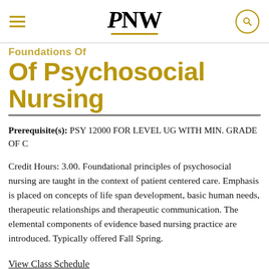PNW
Of Psychosocial Nursing
Prerequisite(s): PSY 12000 FOR LEVEL UG WITH MIN. GRADE OF C
Credit Hours: 3.00. Foundational principles of psychosocial nursing are taught in the context of patient centered care. Emphasis is placed on concepts of life span development, basic human needs, therapeutic relationships and therapeutic communication. The elemental components of evidence based nursing practice are introduced. Typically offered Fall Spring.
View Class Schedule